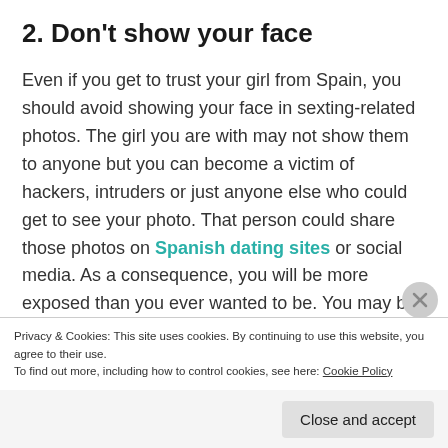2. Don’t show your face
Even if you get to trust your girl from Spain, you should avoid showing your face in sexting-related photos. The girl you are with may not show them to anyone but you can become a victim of hackers, intruders or just anyone else who could get to see your photo. That person could share those photos on Spanish dating sites or social media. As a consequence, you will be more exposed than you ever wanted to be. You may be tempted to send (and receive) naughty photos with body and face on it. Unfortunately, that is not safe for neither you
Privacy & Cookies: This site uses cookies. By continuing to use this website, you agree to their use.
To find out more, including how to control cookies, see here: Cookie Policy
Close and accept